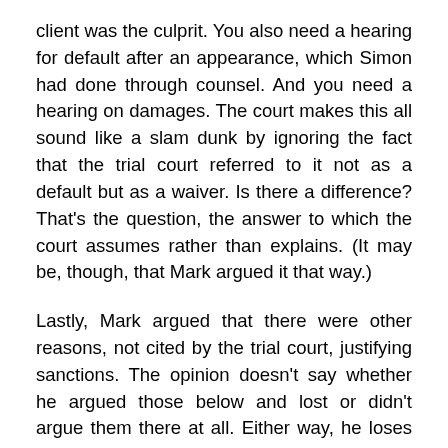client was the culprit. You also need a hearing for default after an appearance, which Simon had done through counsel. And you need a hearing on damages. The court makes this all sound like a slam dunk by ignoring the fact that the trial court referred to it not as a default but as a waiver. Is there a difference? That's the question, the answer to which the court assumes rather than explains. (It may be, though, that Mark argued it that way.)
Lastly, Mark argued that there were other reasons, not cited by the trial court, justifying sanctions. The opinion doesn't say whether he argued those below and lost or didn't argue them there at all. Either way, he loses them on appeal. But instead of saying that the court explains factually why they shouldn't result in severe sanctions.
The court concludes by telling Simon what to do at the